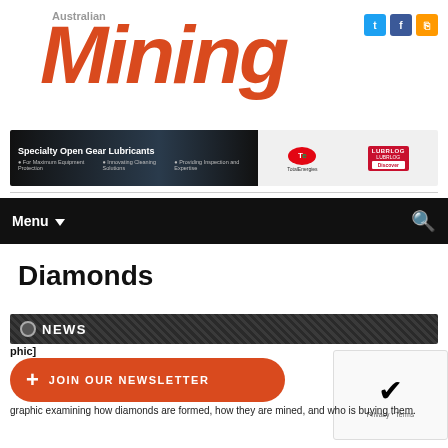[Figure (logo): Australian Mining magazine logo — 'Australian' in grey, 'Mining' in large bold italic orange/red]
[Figure (infographic): Advertisement banner: Specialty Open Gear Lubricants by TotalEnergies and Lubrlog, with dark industrial background]
[Figure (other): Navigation bar with Menu dropdown and search icon on black background]
Diamonds
NEWS
[Figure (other): Orange JOIN OUR NEWSLETTER button with plus sign]
graphic examining how diamonds are formed, how they are mined, and who is buying them.